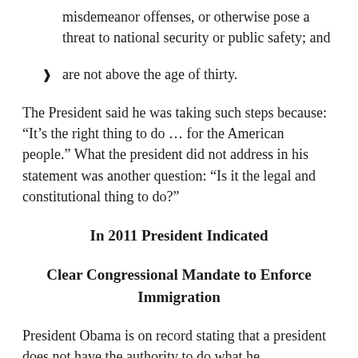significant and documented crimes, multiple misdemeanor offenses, or otherwise pose a threat to national security or public safety; and
are not above the age of thirty.
The President said he was taking such steps because: “It’s the right thing to do … for the American people.” What the president did not address in his statement was another question: “Is it the legal and constitutional thing to do?”
In 2011 President Indicated
Clear Congressional Mandate to Enforce Immigration
President Obama is on record stating that a president does not have the authority to do what he